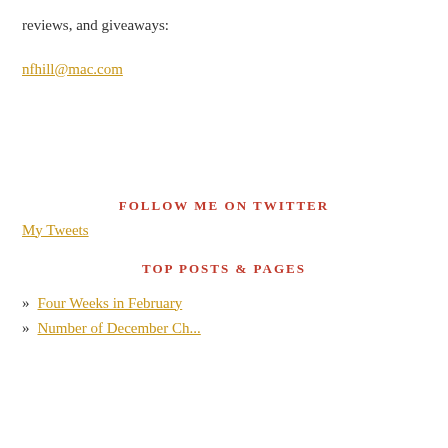reviews, and giveaways:
nfhill@mac.com
FOLLOW ME ON TWITTER
My Tweets
TOP POSTS & PAGES
Four Weeks in February